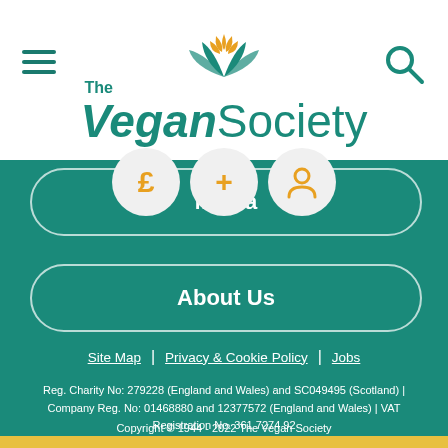[Figure (logo): The Vegan Society logo with lotus flower icon in orange and teal text]
Media
About Us
Site Map | Privacy & Cookie Policy | Jobs
Reg. Charity No: 279228 (England and Wales) and SC049495 (Scotland) | Company Reg. No: 01468880 and 12377572 (England and Wales) | VAT Registration No. 361 7274 92
Copyright © 1944 - 2022 The Vegan Society